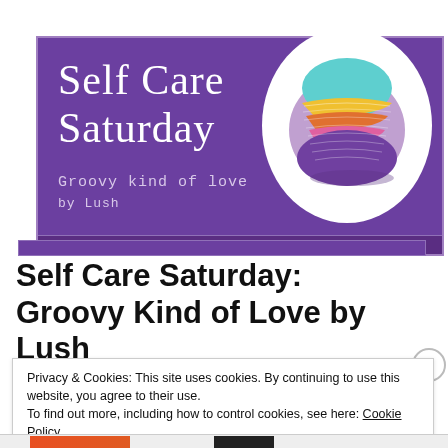[Figure (illustration): Purple banner with 'Self Care Saturday / Groovy kind of love / by Lush' text and a colorful rainbow-striped bath bomb in a white circle on the right]
Self Care Saturday: Groovy Kind of Love by Lush
Privacy & Cookies: This site uses cookies. By continuing to use this website, you agree to their use.
To find out more, including how to control cookies, see here: Cookie Policy
Close and accept